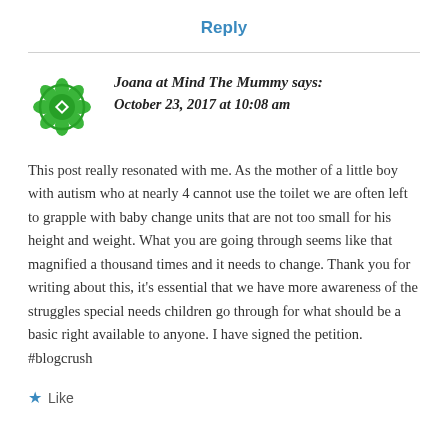Reply
[Figure (logo): Green decorative floral/geometric avatar icon for Joana at Mind The Mummy]
Joana at Mind The Mummy says:
October 23, 2017 at 10:08 am
This post really resonated with me. As the mother of a little boy with autism who at nearly 4 cannot use the toilet we are often left to grapple with baby change units that are not too small for his height and weight. What you are going through seems like that magnified a thousand times and it needs to change. Thank you for writing about this, it's essential that we have more awareness of the struggles special needs children go through for what should be a basic right available to anyone. I have signed the petition. #blogcrush
Like